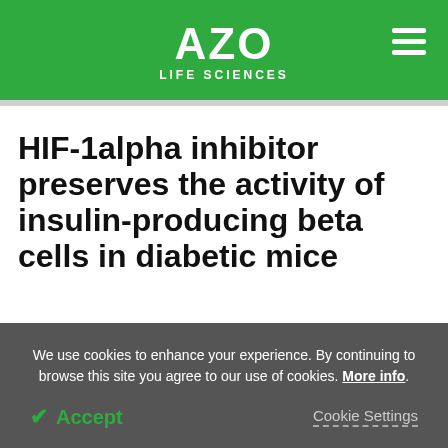AZO LIFE SCIENCES
HIF-1alpha inhibitor preserves the activity of insulin-producing beta cells in diabetic mice
Download PDF Copy
We use cookies to enhance your experience. By continuing to browse this site you agree to our use of cookies. More info.
Accept
Cookie Settings